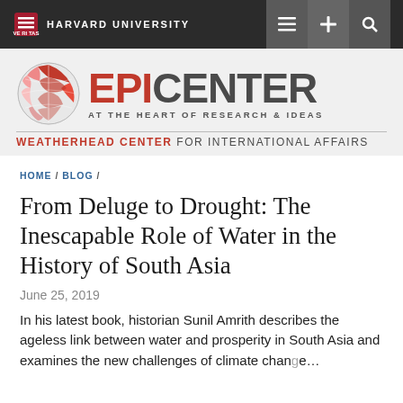HARVARD UNIVERSITY
[Figure (logo): EPICENTER — At the Heart of Research & Ideas — Weatherhead Center for International Affairs logo with globe graphic]
HOME / BLOG /
From Deluge to Drought: The Inescapable Role of Water in the History of South Asia
June 25, 2019
In his latest book, historian Sunil Amrith describes the ageless link between water and prosperity in South Asia and examines the new challenges of climate change...